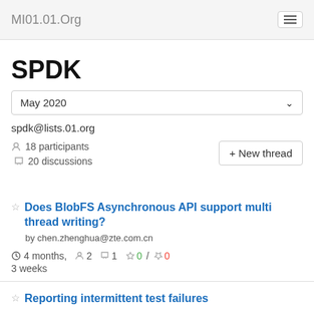MI01.01.Org
SPDK
May 2020
spdk@lists.01.org
18 participants
20 discussions
+ New thread
Does BlobFS Asynchronous API support multi thread writing?
by chen.zhenghua@zte.com.cn
4 months, 3 weeks   2   1   0 / 0
Reporting intermittent test failures